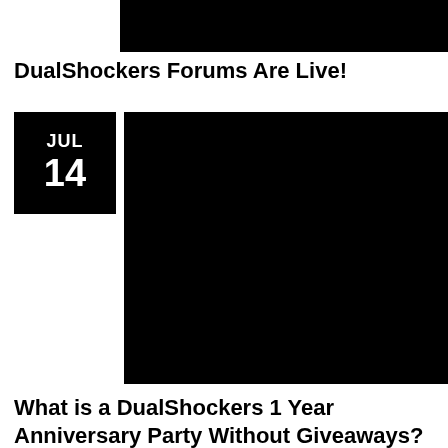[Figure (photo): Black rectangular image at top right]
DualShockers Forums Are Live!
[Figure (other): Date badge showing JUL 14 in black box, with large black image to the right]
What is a DualShockers 1 Year Anniversary Party Without Giveaways?